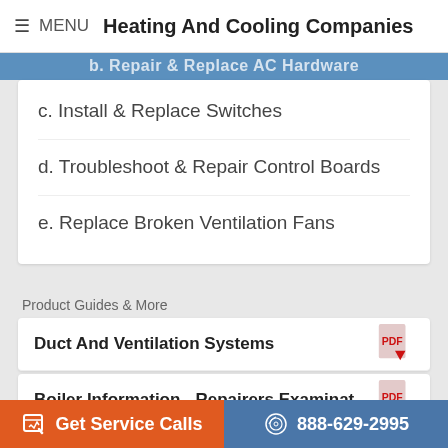≡ MENU  Heating And Cooling Companies
c. Install & Replace Switches
d. Troubleshoot & Repair Control Boards
e. Replace Broken Ventilation Fans
Product Guides & More
Duct And Ventilation Systems
Boiler Information - Repairers Examinat...
Heat Pumps Replace Electrical Heating
Get Service Calls
888-629-2995